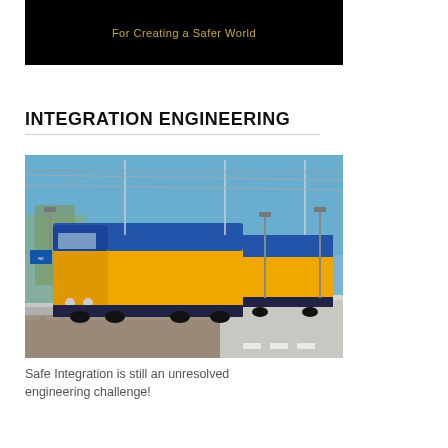[Figure (photo): Black banner with golden/yellow text reading 'For Creating a Safer World']
INTEGRATION ENGINEERING
[Figure (photo): Photo of a Dutch NS (Nederlandse Spoorwegen) intercity train at a station platform. The train is yellow and blue, double-decker style. Blue sky, overhead electric wires visible, empty platform on the right side.]
Safe Integration is still an unresolved engineering challenge!